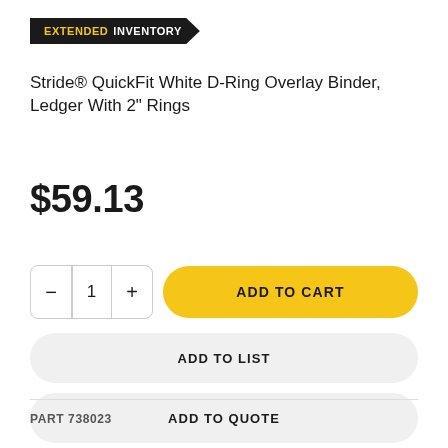[Figure (other): Extended Inventory badge/banner — black pennant shape with yellow 'EXTENDED' text and white 'INVENTORY' text]
Stride® QuickFit White D-Ring Overlay Binder, Ledger With 2" Rings
$59.13
[Figure (other): Quantity selector showing minus button, value 1, plus button; and yellow 'ADD TO CART' pill button]
[Figure (other): Gray pill button labeled 'ADD TO LIST']
[Figure (other): Gray pill button labeled 'ADD TO QUOTE']
PART 738023